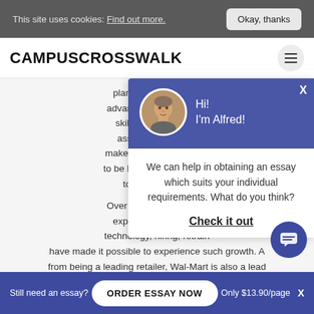This site uses cookies: Find out more. Okay, thanks
CAMPUSCROSSWALK
planning and control. advancement of employ skilled workforce ha assignments and a makers. Managers who a to be highly valued by the to adapt to chan
Over the last forty years expanded to internati technology, hiring, retrain have made it possible to experience such growth. A from being a leading retailer, Wal-Mart is also a lead employee who develops, trains, promotes, and promotes a
[Figure (screenshot): Chat popup with avatar photo of a man, blue header with text 'Hi! I'm Alfred!', body text 'We can help in obtaining an essay which suits your individual requirements. What do you think?' and a 'Check it out' link]
Still need an essay? ORDER ESSAY NOW Only $13.90/page X